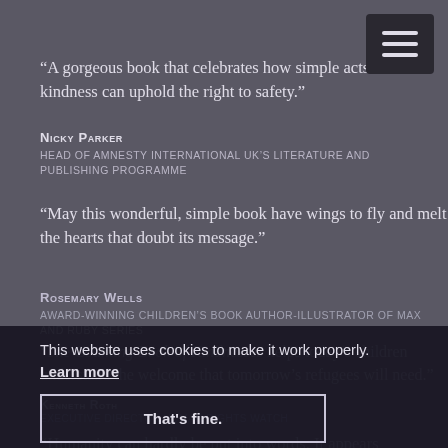“A gorgeous book that celebrates how simple acts of kindness can uphold the right to safety.”
Nicky Parker
Head of Amnesty International UK’s Literature and Publishing Programme
“May this wonderful, simple book have wings to fly and melt the hearts that doubt its message.”
Rosemary Wells
Award-winning children’s book author-illustrator of Max and Ruby series
This website uses cookies to make it work properly. Learn more
That’s fine.
‘The Counting Book of Kindnesses helps today’s children understand the welcome that tomorrow’s refugees will need.”
Kenneth Roth
Executive Director Human Rights Watch
“Humanity can hardly be put into words. It appears